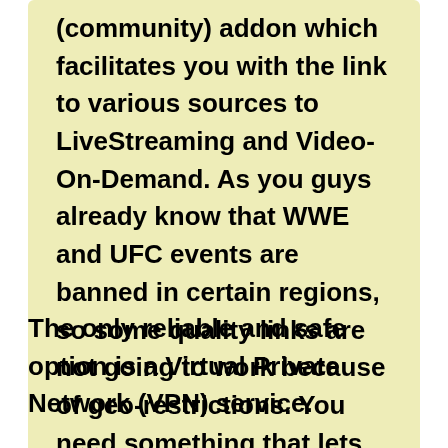(community) addon which facilitates you with the link to various sources to LiveStreaming and Video-On-Demand. As you guys already know that WWE and UFC events are banned in certain regions, so some quality links are not going to work because of geo-restrictions. You need something that lets your device bypass geo-restrictions.
The only reliable and safe option is a Virtual Private Network (VPN) service.